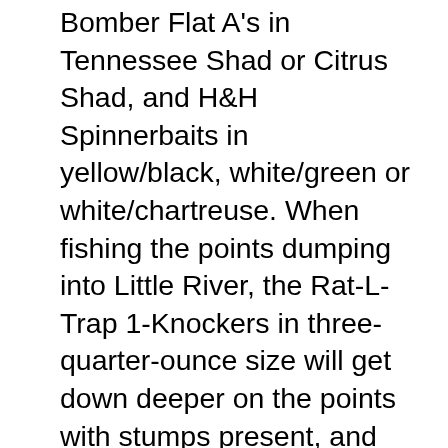Bomber Flat A's in Tennessee Shad or Citrus Shad, and H&H Spinnerbaits in yellow/black, white/green or white/chartreuse. When fishing the points dumping into Little River, the Rat-L-Trap 1-Knockers in three-quarter-ounce size will get down deeper on the points with stumps present, and drop off into the river with a different vibration and presentation than the smaller Rat-L-Traps, and connect with larger schools. One point may hold all largemouth bass, the next point may hold all white bass. Both species are following any remaining shad all along Little River and they are staging on the points, with some of the largemouths pulling into the creek channels where deep access to the river, stumps and points are attracting the shad. * The white bass continue roaming all along Little River, and have heavily schooled up all along Little River for several weeks now. They've been found from White Cliffs campground all the way up to U.S. Highway 71 bridge and where the Cossatot River intersects and dumps into Little River. Hammered Spooky Shiner Spoons and Hammered Battle Rods...